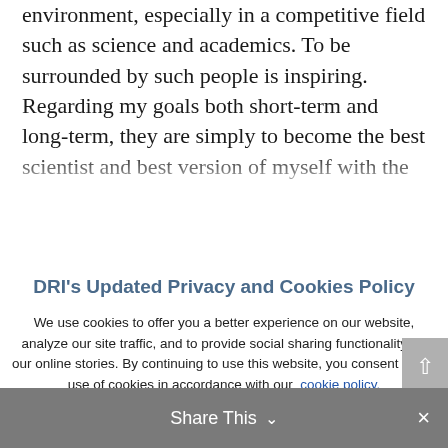environment, especially in a competitive field such as science and academics. To be surrounded by such people is inspiring. Regarding my goals both short-term and long-term, they are simply to become the best scientist and best version of myself with the
DRI's Updated Privacy and Cookies Policy
We use cookies to offer you a better experience on our website, analyze our site traffic, and to provide social sharing functionality for our online stories. By continuing to use this website, you consent to the use of cookies in accordance with our cookie policy.
ACCEPT   REJECT
Share This ∨  ×